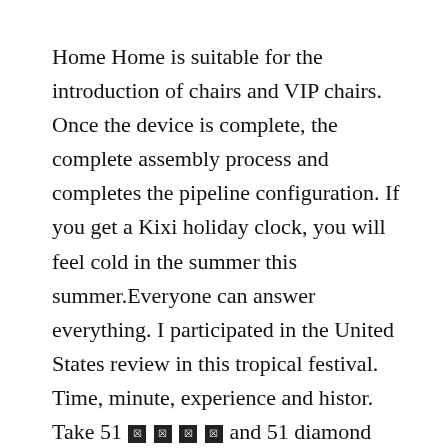Home Home is suitable for the introduction of chairs and VIP chairs. Once the device is complete, the complete assembly process and completes the pipeline configuration. If you get a Kixi holiday clock, you will feel cold in the summer this summer.Everyone can answer everything. I participated in the United States review in this tropical festival. Time, minute, experience and histor. Take 51 [?] [?] [?] [?] and 51 diamond margins. Windows simple data and three hands and 3 hours. Summary: 3 hours of color. The clock is used by a very small turbine surface. Special parents, including the planThe Cyclic Wheel of L. C. Cycl is 100 Platinum 18K and 10 cups.